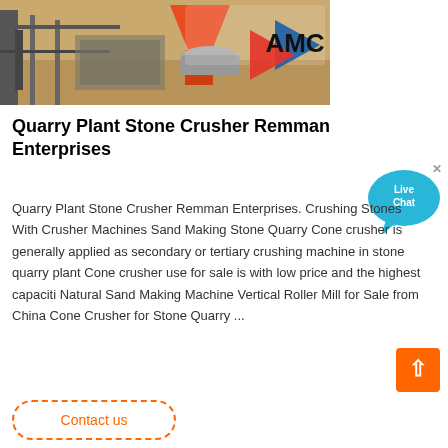[Figure (photo): Industrial stone crusher / quarry plant equipment photo with AMC company logo overlay. Orange and grey machinery visible with sandy/earthy background.]
Quarry Plant Stone Crusher Remman Enterprises
Quarry Plant Stone Crusher Remman Enterprises. Crushing Stones With Crusher Machines Sand Making Stone Quarry Cone crusher is generally applied as secondary or tertiary crushing machine in stone quarry plant Cone crusher use for sale is with low price and the highest capaciti Natural Sand Making Machine Vertical Roller Mill for Sale from China Cone Crusher for Stone Quarry ...
[Figure (other): Live Chat speech bubble button in blue/cyan color]
Contact us